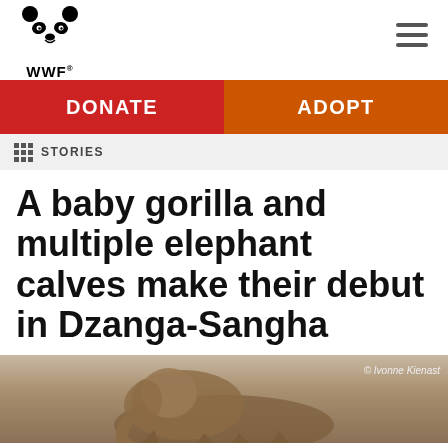WWF
DONATE | ADOPT
STORIES
A baby gorilla and multiple elephant calves make their debut in Dzanga-Sangha
[Figure (photo): Close-up photograph of an elephant calf in Dzanga-Sangha. Photo credit: © Ivonne Kienast]